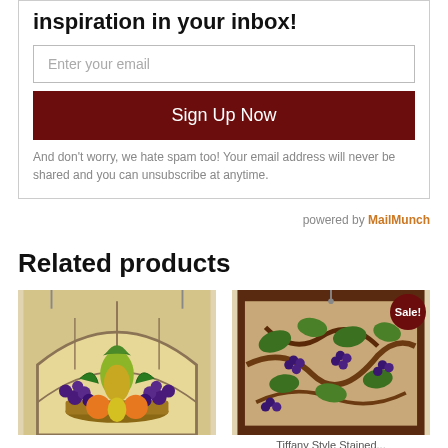inspiration in your inbox!
Enter your email
Sign Up Now
And don't worry, we hate spam too! Your email address will never be shared and you can unsubscribe at anytime.
powered by MailMunch
Related products
[Figure (photo): Stained glass window with arched design featuring fruit basket with pineapple, grapes, oranges and pears]
[Figure (photo): Stained glass panel with grapevines pattern, with a Sale! badge in dark red circle]